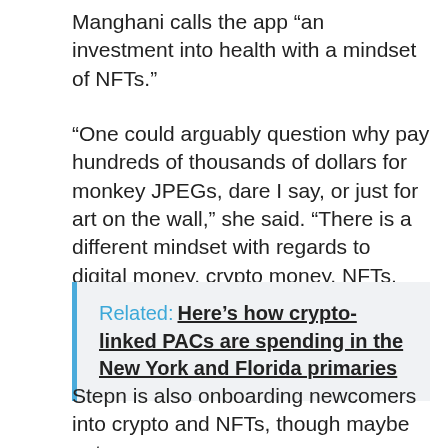Manghani calls the app “an investment into health with a mindset of NFTs.”
“One could arguably question why pay hundreds of thousands of dollars for monkey JPEGs, dare I say, or just for art on the wall,” she said. “There is a different mindset with regards to digital money, crypto money, NFTs, and how to use that for positive benefit, for social impact, is something that we’re solving for.”
Related: Here’s how crypto-linked PACs are spending in the New York and Florida primaries
Stepn is also onboarding newcomers into crypto and NFTs, though maybe not as many now as